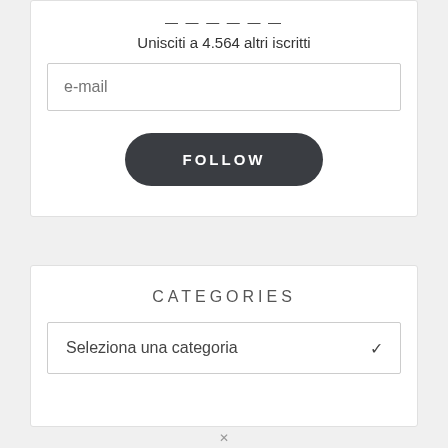— — — — — —
Unisciti a 4.564 altri iscritti
e-mail
FOLLOW
CATEGORIES
Seleziona una categoria